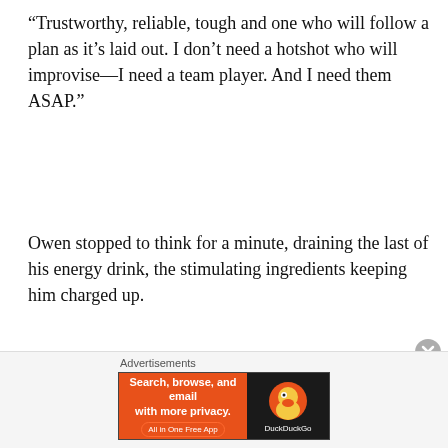“Trustworthy, reliable, tough and one who will follow a plan as it’s laid out. I don’t need a hotshot who will improvise—I need a team player. And I need them ASAP.”
Owen stopped to think for a minute, draining the last of his energy drink, the stimulating ingredients keeping him charged up.
Advertisements
[Figure (illustration): Blue advertisement banner showing a worker/builder character with hard hat, flanked by circular icons of a notebook and a document/list on a light blue background with sparkle decorations.]
Advertisements
[Figure (illustration): DuckDuckGo advertisement: orange left panel with text 'Search, browse, and email with more privacy. All in One Free App' and dark right panel with DuckDuckGo logo and duck icon.]